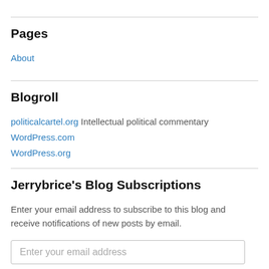Pages
About
Blogroll
politicalcartel.org Intellectual political commentary
WordPress.com
WordPress.org
Jerrybrice's Blog Subscriptions
Enter your email address to subscribe to this blog and receive notifications of new posts by email.
Enter your email address